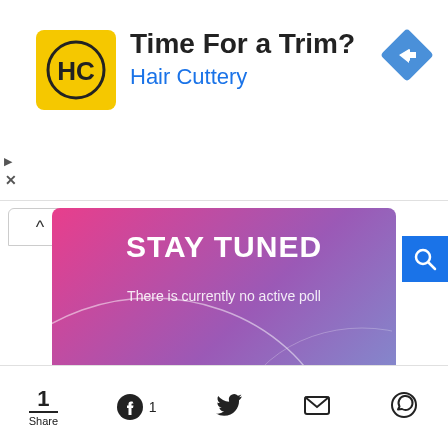[Figure (screenshot): Hair Cuttery advertisement banner with yellow square logo showing HC initials, title 'Time For a Trim?', subtitle 'Hair Cuttery', and a blue diamond navigation icon on the right]
[Figure (infographic): Poll widget with pink-to-purple gradient background showing 'STAY TUNED' heading and 'There is currently no active poll' subtitle, with decorative white circle arc overlay]
[Figure (infographic): Social share bar at bottom with Share count 1, Facebook with count 1, Twitter, Email, and WhatsApp icons]